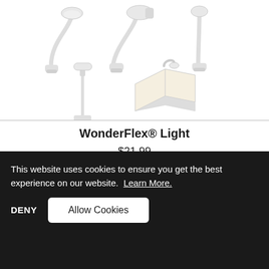[Figure (photo): Product images of WonderFlex Light in multiple configurations: three flex neck reading lights on top row, a stand-alone lamp and a book with light on second row.]
WonderFlex® Light
$21.99
★★★★★ 8 Reviews
This website uses cookies to ensure you get the best experience on our website. Learn More.
DENY  Allow Cookies